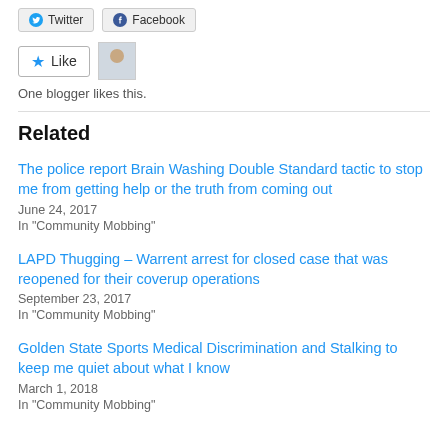[Figure (screenshot): Twitter and Facebook share buttons at the top of the page]
[Figure (screenshot): Like button with star icon and a small avatar photo of a person in a suit]
One blogger likes this.
Related
The police report Brain Washing Double Standard tactic to stop me from getting help or the truth from coming out
June 24, 2017
In "Community Mobbing"
LAPD Thugging – Warrent arrest for closed case that was reopened for their coverup operations
September 23, 2017
In "Community Mobbing"
Golden State Sports Medical Discrimination and Stalking to keep me quiet about what I know
March 1, 2018
In "Community Mobbing"